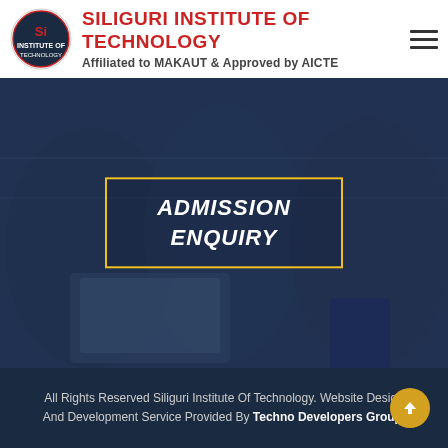SILIGURI INSTITUTE OF TECHNOLOGY
Affiliated to MAKAUT & Approved by AICTE
[Figure (photo): Three students (two female, one male) sitting together looking at a laptop and books, with a blue-tinted overlay. Center shows an 'ADMISSION ENQUIRY' text box with yellow border.]
All Rights Reserved Siliguri Institute Of Technology. Website Design And Development Service Provided By Techno Developers Group.